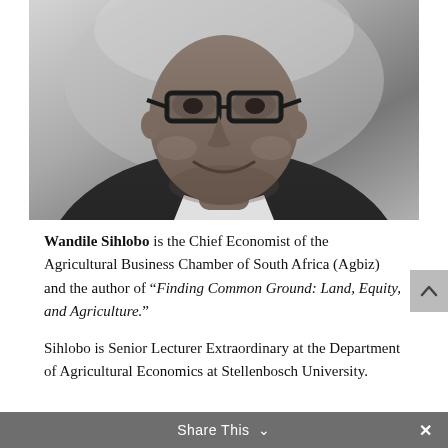[Figure (photo): Black and white close-up portrait photo of Wandile Sihlobo, a man wearing dark-framed glasses, smiling slightly, wearing a dark jacket and light collared shirt.]
Wandile Sihlobo is the Chief Economist of the Agricultural Business Chamber of South Africa (Agbiz) and the author of “Finding Common Ground: Land, Equity, and Agriculture.”
Sihlobo is Senior Lecturer Extraordinary at the Department of Agricultural Economics at Stellenbosch University.